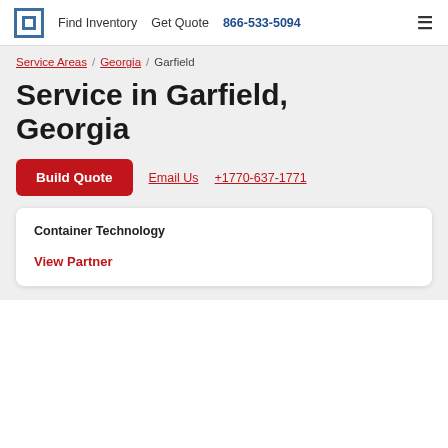Find Inventory  Get Quote  866-533-5094
Service Areas / Georgia / Garfield
Service in Garfield, Georgia
Build Quote   Email Us   +1770-637-1771
Container Technology
View Partner